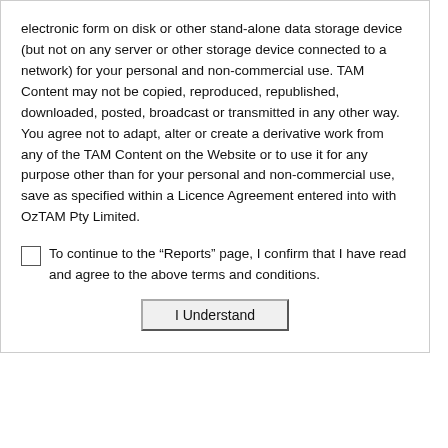electronic form on disk or other stand-alone data storage device (but not on any server or other storage device connected to a network) for your personal and non-commercial use. TAM Content may not be copied, reproduced, republished, downloaded, posted, broadcast or transmitted in any other way. You agree not to adapt, alter or create a derivative work from any of the TAM Content on the Website or to use it for any purpose other than for your personal and non-commercial use, save as specified within a Licence Agreement entered into with OzTAM Pty Limited.
To continue to the “Reports” page, I confirm that I have read and agree to the above terms and conditions.
I Understand
This report shows how the audience in all 5-city Metro market homes was s between the hours of 6am and midnight (0600-2400) for the week. It also pr
This report shows how the audience in all 5-city Metro market homes was s between the hours of 6pm and midnight (1800-2400) for the week. It also pr
This report shows how the audience in all 5-city Metro market homes was s between the hours of 6am and midnight (0600-2400) for the week. It also pr